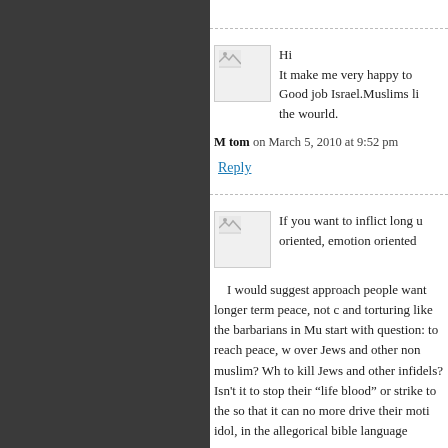[Figure (illustration): Avatar placeholder image with broken image icon, for first commenter]
Hi
It make me very happy to
Good job Israel.Muslims li
the wourld.
M tom on March 5, 2010 at 9:52 pm
Reply
[Figure (illustration): Avatar placeholder image with broken image icon, for second commenter]
If you want to inflict long u oriented, emotion oriented
I would suggest approach people want longer term peace, not c and torturing like the barbarians in Mu start with question: to reach peace, w over Jews and other non muslim? Wh to kill Jews and other infidels? Isn't it to stop their “life blood” or strike to the so that it can no more drive their moti idol, in the allegorical bible language